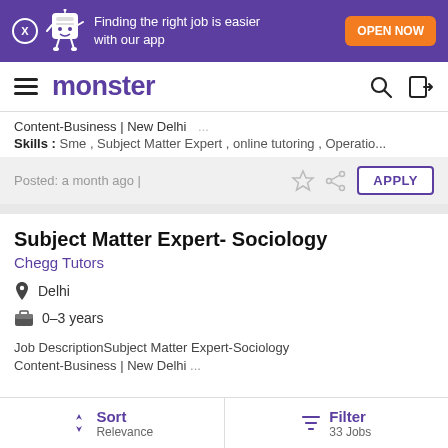[Figure (screenshot): Monster job board app banner with mascot: 'Finding the right job is easier with our app' and OPEN NOW button]
monster
Content-Business | New Delhi
Skills: Sme, Subject Matter Expert, online tutoring, Operatio...
Posted: a month ago |
Subject Matter Expert- Sociology
Chegg Tutors
Delhi
0–3 years
Job DescriptionSubject Matter Expert-Sociology Content-Business | New Delhi ...
Sort Relevance | Filter 33 Jobs